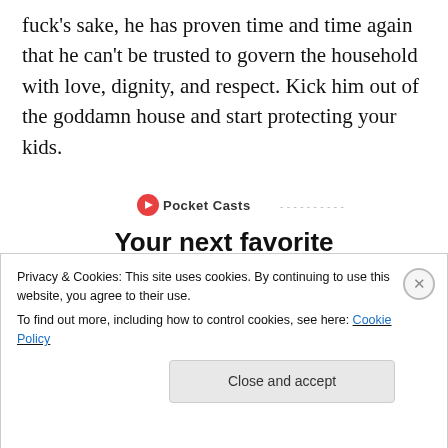fuck's sake, he has proven time and time again that he can't be trusted to govern the household with love, dignity, and respect. Kick him out of the goddamn house and start protecting your kids.
[Figure (screenshot): Pocket Casts advertisement showing 'Your next favorite podcast is here.' with app screenshot mockup on phones and blue play button graphic]
Privacy & Cookies: This site uses cookies. By continuing to use this website, you agree to their use.
To find out more, including how to control cookies, see here: Cookie Policy
Close and accept